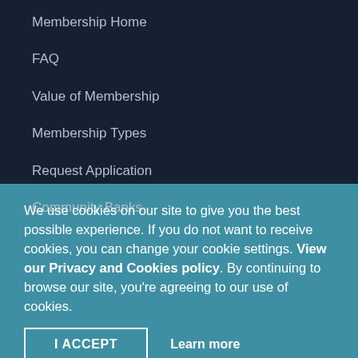Membership Home
FAQ
Value of Membership
Membership Types
Request Application
Community Banks
We use cookies on our site to give you the best possible experience. If you do not want to receive cookies, you can change your cookie settings. View our Privacy and Cookies policy. By continuing to browse our site, you're agreeing to our use of cookies.
I ACCEPT
Learn more